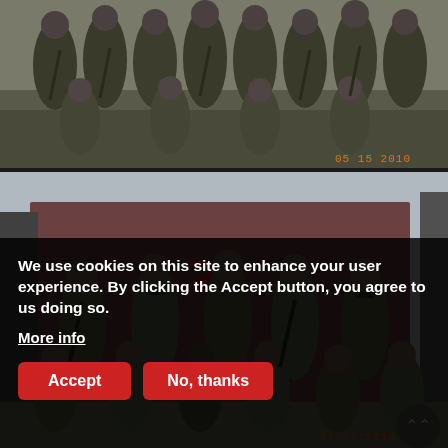[Figure (photo): Group photo of soldiers in military gear and camouflage uniforms posed together outdoors. Timestamp reads 05.15.2010 in orange in lower right corner.]
[Figure (photo): Group photo of soldiers in military camouflage uniforms posed in front of a wall with a red insignia/symbol. Timestamp reads 07.09.2010 in orange in lower right corner.]
We use cookies on this site to enhance your user experience. By clicking the Accept button, you agree to us doing so.
More info
Accept
No, thanks